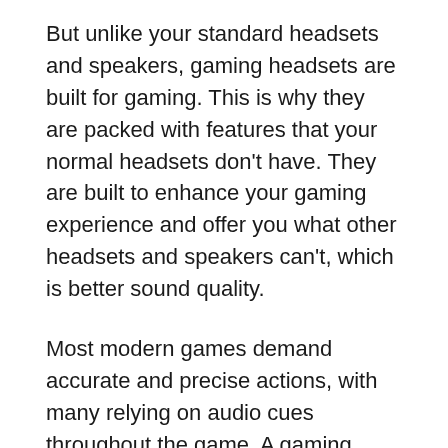But unlike your standard headsets and speakers, gaming headsets are built for gaming. This is why they are packed with features that your normal headsets don't have. They are built to enhance your gaming experience and offer you what other headsets and speakers can't, which is better sound quality.
Most modern games demand accurate and precise actions, with many relying on audio cues throughout the game. A gaming headset allows you to respond more quickly to your opponents since you'll be able to hear even the faintest sounds of footsteps.
Gaming headsets also offer other features like surround sound. Surround sound uses a technology that helps to adjust the volume or even delay the sound. This allows you to have a realistic 3D audio experience. Aside from the